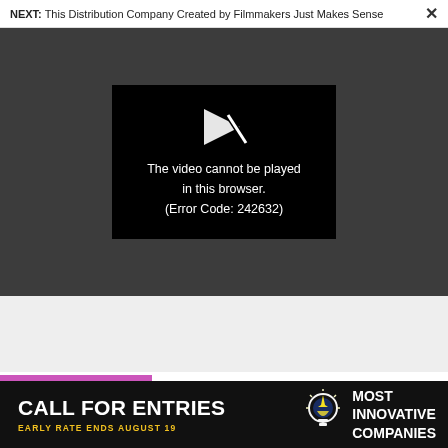NEXT: This Distribution Company Created by Filmmakers Just Makes Sense
[Figure (screenshot): Video player showing error message on dark grey background. Black player box contains a white broken play icon and text: 'The video cannot be played in this browser. (Error Code: 242632)']
[Figure (photo): News section with colorful cartoon robot characters image on left and NEWS label]
NEWS
[Figure (infographic): Black advertisement banner reading 'CALL FOR ENTRIES' with subtitle 'EARLY RATE ENDS AUGUST 19' and 'Most Innovative Companies' with a light bulb icon]